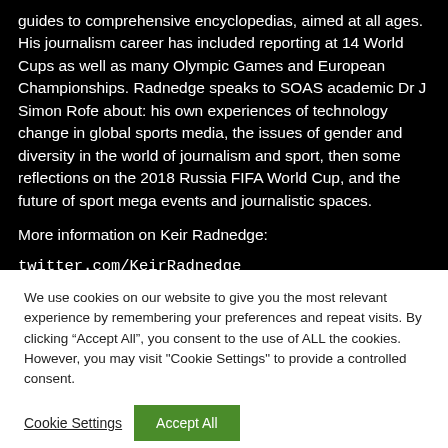guides to comprehensive encyclopedias, aimed at all ages. His journalism career has included reporting at 14 World Cups as well as many Olympic Games and European Championships. Radnedge speaks to SOAS academic Dr J Simon Rofe about: his own experiences of technology change in global sports media, the issues of gender and diversity in the world of journalism and sport, then some reflections on the 2018 Russia FIFA World Cup, and the future of sport mega events and journalistic spaces.
More information on Keir Radnedge:
twitter.com/KeirRadnedge
We use cookies on our website to give you the most relevant experience by remembering your preferences and repeat visits. By clicking “Accept All”, you consent to the use of ALL the cookies. However, you may visit "Cookie Settings" to provide a controlled consent.
Cookie Settings
Accept All